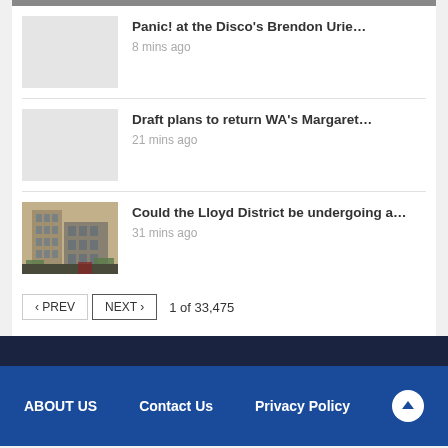Panic! at the Disco's Brendon Urie…
8 mins ago
Draft plans to return WA's Margaret…
21 mins ago
Could the Lloyd District be undergoing a…
31 mins ago
‹ PREV   NEXT ›   1 of 33,475
ABOUT US   Contact Us   Privacy Policy